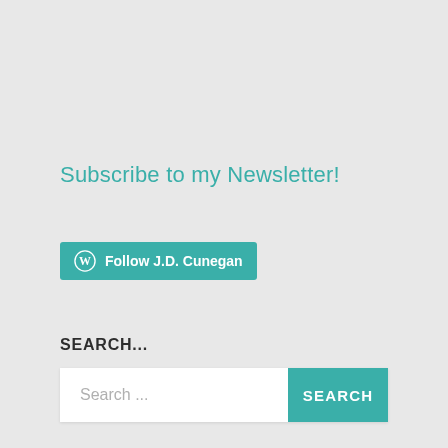Subscribe to my Newsletter!
[Figure (other): WordPress Follow button with teal background and white WordPress logo, labeled 'Follow J.D. Cunegan']
SEARCH...
Search ... SEARCH